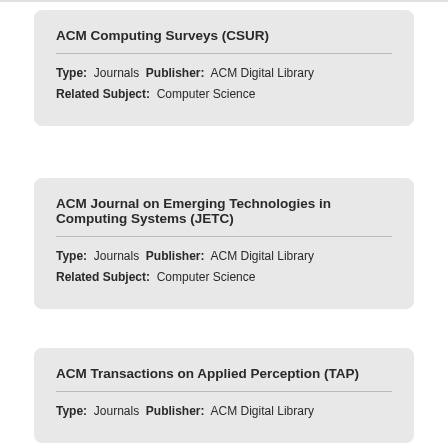ACM Computing Surveys (CSUR)
Type: Journals Publisher: ACM Digital Library
Related Subject: Computer Science
ACM Journal on Emerging Technologies in Computing Systems (JETC)
Type: Journals Publisher: ACM Digital Library
Related Subject: Computer Science
ACM Transactions on Applied Perception (TAP)
Type: Journals Publisher: ACM Digital Library